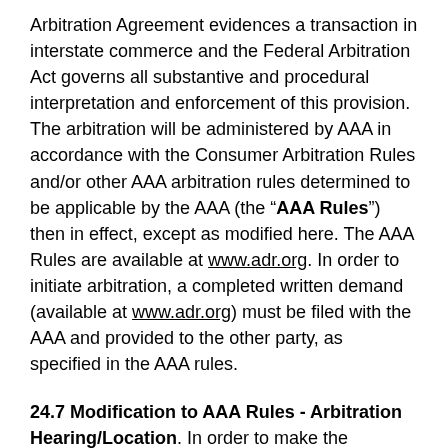Arbitration Agreement evidences a transaction in interstate commerce and the Federal Arbitration Act governs all substantive and procedural interpretation and enforcement of this provision. The arbitration will be administered by AAA in accordance with the Consumer Arbitration Rules and/or other AAA arbitration rules determined to be applicable by the AAA (the “AAA Rules”) then in effect, except as modified here. The AAA Rules are available at www.adr.org. In order to initiate arbitration, a completed written demand (available at www.adr.org) must be filed with the AAA and provided to the other party, as specified in the AAA rules.
24.7 Modification to AAA Rules - Arbitration Hearing/Location
In order to make the arbitration most convenient to you, Airbnb